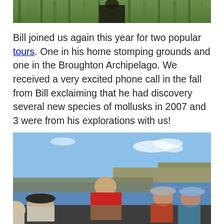[Figure (photo): Top portion of a photo showing tall green grass or reeds with a dark figure/person partially visible at the bottom]
Bill joined us again this year for two popular tours. One in his home stomping grounds and one in the Broughton Archipelago. We received a very excited phone call in the fall from Bill exclaiming that he had discovery several new species of mollusks in 2007 and 3 were from his explorations with us!
[Figure (photo): Group photo on a boat near rocky shoreline and water under blue sky. A man in a red jacket stands in the center, surrounded by several other people wearing hats and life vests.]